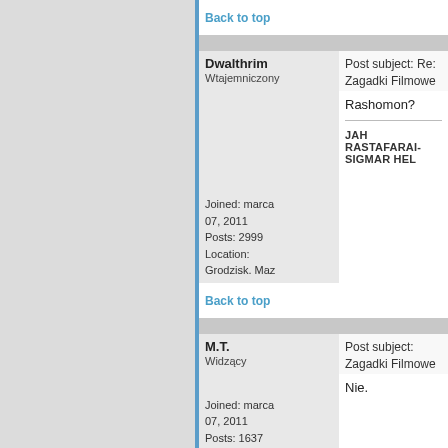Back to top
Dwalthrim
Wtajemniczony
Post subject: Re: Zagadki Filmowe
Posted: Wt May 24, 2011 08:07 AM
Rashomon?
JAH RASTAFARAI-SIGMAR HEL...
Joined: marca 07, 2011
Posts: 2999
Location: Grodzisk. Maz
Filia Mazowiecka
Back to top
M.T.
Widzący
Post subject: Zagadki Filmowe
Posted: Wt May 24, 2011 10:37 AM
Nie.
Joined: marca 07, 2011
Posts: 1637
Location: Brwinów
Filia Mazowiecka